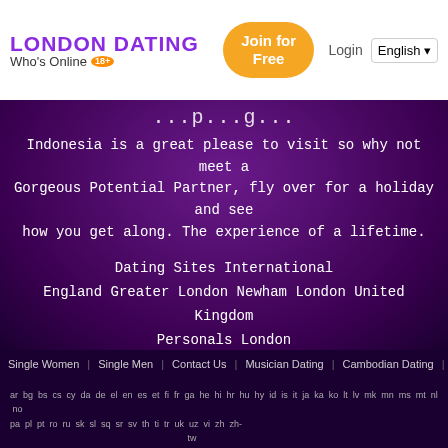LONDON DATING | Who's Online 18+ | Join for Free | Login | English
Indonesia is a great please to visit so why not meet a Gorgeous Potential Partner, fly over for a holiday and see how you get along. The experience of a lifetime.
Dating Sites International
England Greater London Newham London United Kingdom
Personals London
Single Women   Single Men   Contact Us   Musician Dating   Cambodian Dating   Indonesian Dating
ar bg bs cs cy da de el en es et fi fr ga he hi hr hu hy id is it ja ka ko lt lv mk mn ms mt nl no pa pl pt ro ru sk sl sq sr sv th ti tr uk uz vi zh zh-tw